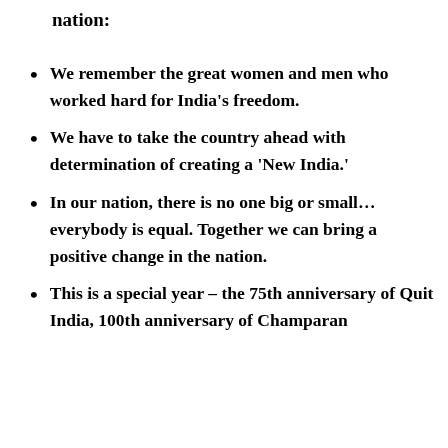nation:
We remember the great women and men who worked hard for India's freedom.
We have to take the country ahead with determination of creating a ‘New India.’
In our nation, there is no one big or small… everybody is equal. Together we can bring a positive change in the nation.
This is a special year – the 75th anniversary of Quit India, 100th anniversary of Champaran